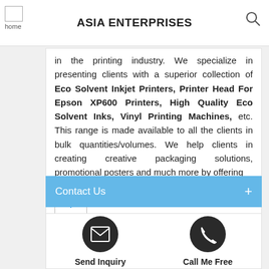ASIA ENTERPRISES
in the printing industry. We specialize in presenting clients with a superior collection of Eco Solvent Inkjet Printers, Printer Head For Epson XP600 Printers, High Quality Eco Solvent Inks, Vinyl Printing Machines, etc. This range is made available to all the clients in bulk quantities/volumes. We help clients in creating creative packaging solutions, promotional posters and much more by offering
Contact Us
[Figure (infographic): Two circular icon buttons: an envelope/email icon labeled 'Send Inquiry' and a phone icon labeled 'Call Me Free']